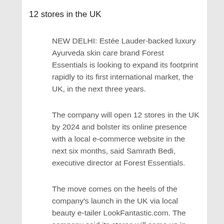12 stores in the UK
NEW DELHI: Estée Lauder-backed luxury Ayurveda skin care brand Forest Essentials is looking to expand its footprint rapidly to its first international market, the UK, in the next three years.
The company will open 12 stores in the UK by 2024 and bolster its online presence with a local e-commerce website in the next six months, said Samrath Bedi, executive director at Forest Essentials.
The move comes on the heels of the company's launch in the UK via local beauty e-tailer LookFantastic.com. The company said its stores will come up in places like London, Manchester and Birmingham to begin with, and expand to other locations later. For online sales, UK is one of its largest markets outside of India. E-